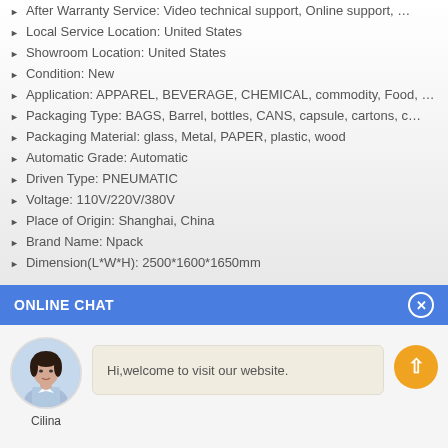After Warranty Service: Video technical support, Online support, …
Local Service Location: United States
Showroom Location: United States
Condition: New
Application: APPAREL, BEVERAGE, CHEMICAL, commodity, Food, M…
Packaging Type: BAGS, Barrel, bottles, CANS, capsule, cartons, c…
Packaging Material: glass, Metal, PAPER, plastic, wood
Automatic Grade: Automatic
Driven Type: PNEUMATIC
Voltage: 110V/220V/380V
Place of Origin: Shanghai, China
Brand Name: Npack
Dimension(L*W*H): 2500*1600*1650mm
ONLINE CHAT
[Figure (photo): Avatar photo of a woman named Cilina]
Hi,welcome to visit our website.